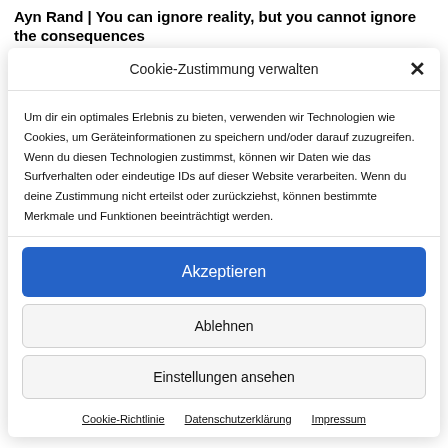Ayn Rand | You can ignore reality, but you cannot ignore the consequences
Cookie-Zustimmung verwalten
Um dir ein optimales Erlebnis zu bieten, verwenden wir Technologien wie Cookies, um Geräteinformationen zu speichern und/oder darauf zuzugreifen. Wenn du diesen Technologien zustimmst, können wir Daten wie das Surfverhalten oder eindeutige IDs auf dieser Website verarbeiten. Wenn du deine Zustimmung nicht erteilst oder zurückziehst, können bestimmte Merkmale und Funktionen beeinträchtigt werden.
Akzeptieren
Ablehnen
Einstellungen ansehen
Cookie-Richtlinie   Datenschutzerklärung   Impressum